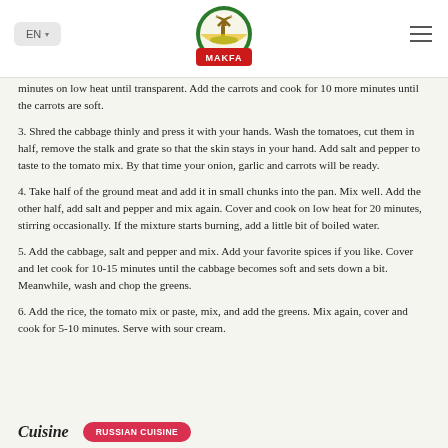EN | MAKFA logo | hamburger menu
minutes on low heat until transparent. Add the carrots and cook for 10 more minutes until the carrots are soft.
3. Shred the cabbage thinly and press it with your hands. Wash the tomatoes, cut them in half, remove the stalk and grate so that the skin stays in your hand. Add salt and pepper to taste to the tomato mix. By that time your onion, garlic and carrots will be ready.
4. Take half of the ground meat and add it in small chunks into the pan. Mix well. Add the other half, add salt and pepper and mix again. Cover and cook on low heat for 20 minutes, stirring occasionally. If the mixture starts burning, add a little bit of boiled water.
5. Add the cabbage, salt and pepper and mix. Add your favorite spices if you like. Cover and let cook for 10-15 minutes until the cabbage becomes soft and sets down a bit. Meanwhile, wash and chop the greens.
6. Add the rice, the tomato mix or paste, mix, and add the greens. Mix again, cover and cook for 5-10 minutes. Serve with sour cream.
Cuisine   RUSSIAN CUISINE